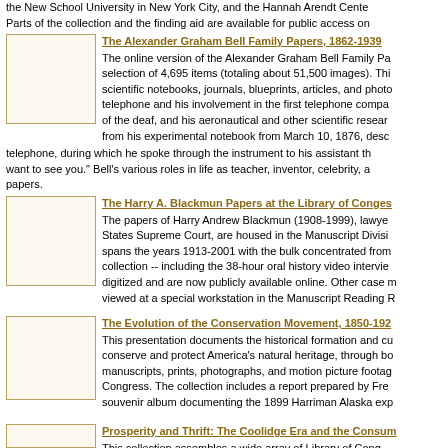the New School University in New York City, and the Hannah Arendt Center. Parts of the collection and the finding aid are available for public access on
The Alexander Graham Bell Family Papers, 1862-1939
The online version of the Alexander Graham Bell Family Papers presents a selection of 4,695 items (totaling about 51,500 images). This includes scientific notebooks, journals, blueprints, articles, and photographs covering Bell's invention of the telephone and his involvement in the first telephone company, his work with the education of the deaf, and his aeronautical and other scientific research. Included is a page from his experimental notebook from March 10, 1876, describing the first test of the telephone, during which he spoke through the instrument to his assistant the famous words: "Mr. Watson, I want to see you." Bell's various roles in life as teacher, inventor, celebrity, and family man permeate the papers.
The Harry A. Blackmun Papers at the Library of Congress
The papers of Harry Andrew Blackmun (1908-1999), lawyer and Associate Justice of the United States Supreme Court, are housed in the Manuscript Division of the Library of Congress. The collection spans the years 1913-2001 with the bulk concentrated from 1970-1994. Portions of the collection -- including the 38-hour oral history video interview and all case files -- have been digitized and are now publicly available online. Other case materials and correspondence may be viewed at a special workstation in the Manuscript Reading Room.
The Evolution of the Conservation Movement, 1850-1920
This presentation documents the historical formation and cultural expression of the movement to conserve and protect America's natural heritage, through books, pamphlets, government documents, manuscripts, prints, photographs, and motion picture footage drawn from the collections of the Library of Congress. The collection includes a report prepared by Frederick Law Olmsted, Sr., and a souvenir album documenting the 1899 Harriman Alaska expedition.
Prosperity and Thrift: The Coolidge Era and the Consumer Economy
This collection assembles a wide array of Library of Cong